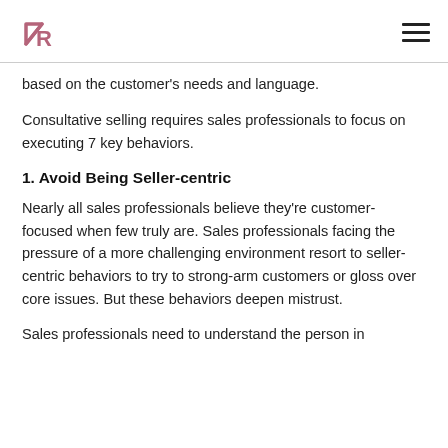[Logo] [Hamburger menu]
based on the customer's needs and language.
Consultative selling requires sales professionals to focus on executing 7 key behaviors.
1. Avoid Being Seller-centric
Nearly all sales professionals believe they're customer-focused when few truly are. Sales professionals facing the pressure of a more challenging environment resort to seller-centric behaviors to try to strong-arm customers or gloss over core issues. But these behaviors deepen mistrust.
Sales professionals need to understand the person in